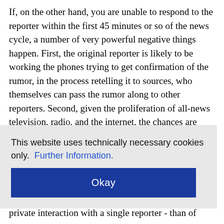If, on the other hand, you are unable to respond to the reporter within the first 45 minutes or so of the news cycle, a number of very powerful negative things happen. First, the original reporter is likely to be working the phones trying to get confirmation of the rumor, in the process retelling it to sources, who themselves can pass the rumor along to other reporters. Second, given the proliferation of all-news television, radio, and the internet, the chances are high that the story will break quickly.
Before a story breaks it may be possible, as in the
[Figure (screenshot): Cookie consent overlay banner with text 'This website uses technically necessary cookies only. Further Information.' and an Okay button in dark blue.]
private interaction with a single reporter - than of